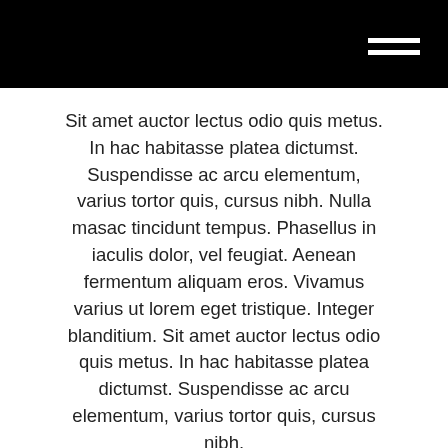Sit amet auctor lectus odio quis metus. In hac habitasse platea dictumst. Suspendisse ac arcu elementum, varius tortor quis, cursus nibh. Nulla masac tincidunt tempus. Phasellus in iaculis dolor, vel feugiat. Aenean fermentum aliquam eros. Vivamus varius ut lorem eget tristique. Integer blanditium. Sit amet auctor lectus odio quis metus. In hac habitasse platea dictumst. Suspendisse ac arcu elementum, varius tortor quis, cursus nibh.